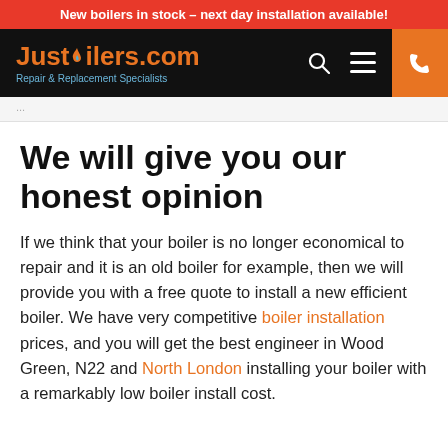New boilers in stock – next day installation available!
[Figure (logo): JustBoilers.com logo with tagline Repair & Replacement Specialists on black navigation bar with orange phone button]
We will give you our honest opinion
If we think that your boiler is no longer economical to repair and it is an old boiler for example, then we will provide you with a free quote to install a new efficient boiler. We have very competitive boiler installation prices, and you will get the best engineer in Wood Green, N22 and North London installing your boiler with a remarkably low boiler install cost.